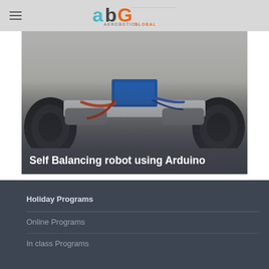AEROBOTICS GLOBAL
[Figure (photo): Close-up photo of a self-balancing robot chassis with Arduino board, motors, wheels, and wiring visible from a low angle.]
Self Balancing robot using Arduino
Holiday Programs
Online Programs
In class Programs